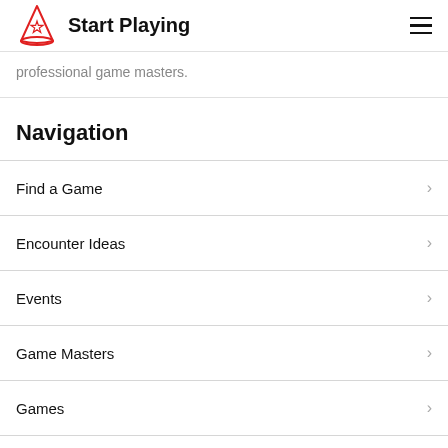Start Playing
professional game masters.
Navigation
Find a Game
Encounter Ideas
Events
Game Masters
Games